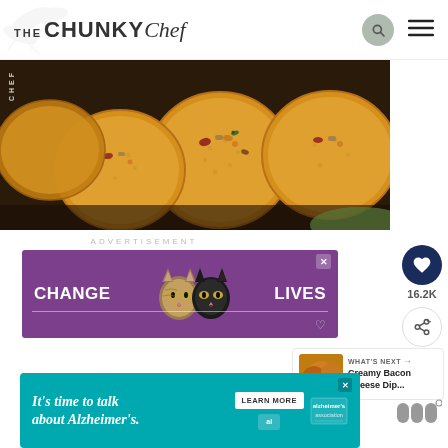THE CHUNKY Chef
[Figure (photo): Close-up photo of round golden crackers topped with cheese, bacon, cranberries, and herbs on a wooden board]
ADVERTISEMENT
[Figure (infographic): Purple advertisement banner reading CHANGE LIVES with two cat faces in the center]
[Figure (infographic): Social sidebar with heart icon showing 16.2K saves and share button]
[Figure (infographic): What's Next panel: Creamy Bacon Cheese Dip...]
[Figure (infographic): Teal bottom advertisement banner: It's time to talk about Alzheimer's. with Learn More button and Alzheimer's Association logo]